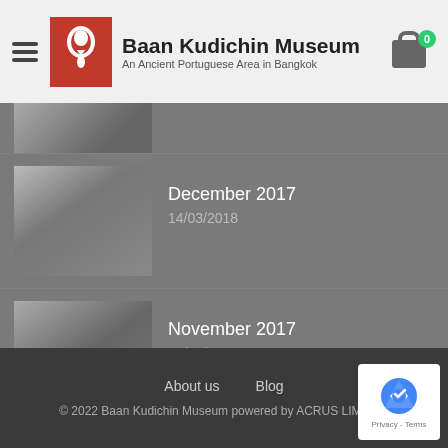Baan Kudichin Museum — An Ancient Portuguese Area in Bangkok
[Figure (photo): Partially visible thumbnail photo of group of people (scrolled/cropped at top)]
December 2017
14/03/2018
November 2017
12/03/2018
October 2017
10/03/2018
October 2017
08/03/2018
About us   Blog
© 2022 Baan Kudichin Museum powered by ACRUS LIMITED